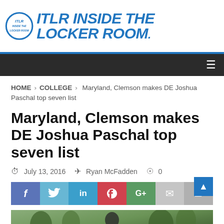ITLR INSIDE THE LOCKER ROOM.
HOME > COLLEGE > Maryland, Clemson makes DE Joshua Paschal top seven list
Maryland, Clemson makes DE Joshua Paschal top seven list
July 13, 2016  Ryan McFadden  0
[Figure (infographic): Social share buttons: Facebook, Twitter, LinkedIn, Pinterest, Google+, Email, Print]
[Figure (photo): Partial photo of a person outdoors with trees in background]